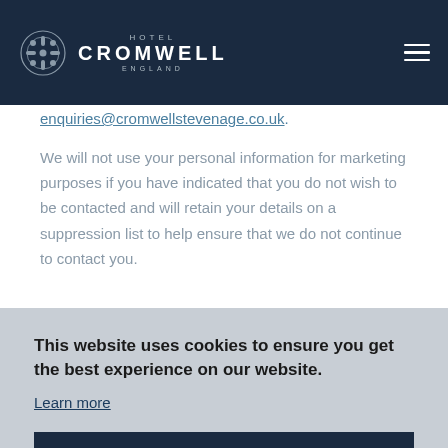HOTEL CROMWELL ENGLAND
enquiries@cromwellstevenage.co.uk.
We will not use your personal information for marketing purposes if you have indicated that you do not wish to be contacted and will retain your details on a suppression list to help ensure that we do not continue to contact you.
This website uses cookies to ensure you get the best experience on our website.
Learn more
Accept & Continue
rights over the personal information that we hold